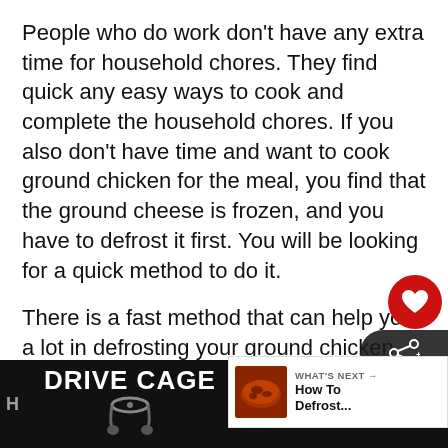People who do work don't have any extra time for household chores. They find quick any easy ways to cook and complete the household chores. If you also don't have time and want to cook ground chicken for the meal, you find that the ground cheese is frozen, and you have to defrost it first. You will be looking for a quick method to do it.
There is a fast method that can help you a lot in defrosting your ground chicken quickly. By using cold water, you can defrost your ground chicken within an hour. It is a safe process too.
[Figure (infographic): Red heart icon button overlay, share icon button overlay, and 'WHAT'S NEXT → How To Defrost...' panel with thumbnail image of ground chicken]
[Figure (infographic): Advertisement bar at bottom: 'DRIVE CAGE' ad on black background with headset image on left; 'LEARN MORE' Ripcord Arrow Rest ad on right; partial text visible on far left and right edges]